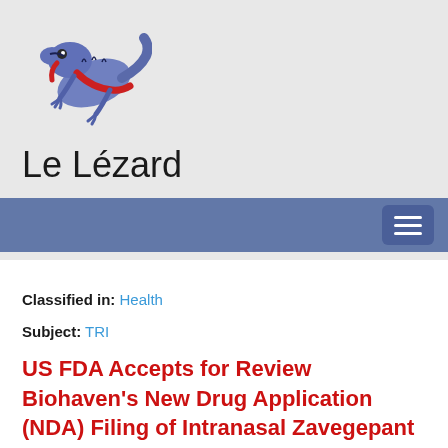[Figure (logo): Le Lézard website logo: a stylized blue/purple salamander or lizard with a red underbelly, curled in a circular pose]
Le Lézard
Classified in: Health
Subject: TRI
US FDA Accepts for Review Biohaven's New Drug Application (NDA) Filing of Intranasal Zavegepant for the Acute Treatment of Migraine